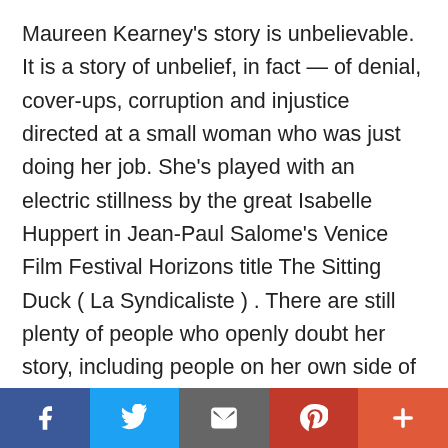Maureen Kearney's story is unbelievable. It is a story of unbelief, in fact — of denial, cover-ups, corruption and injustice directed at a small woman who was just doing her job. She's played with an electric stillness by the great Isabelle Huppert in Jean-Paul Salome's Venice Film Festival Horizons title The Sitting Duck ( La Syndicaliste ) . There are still plenty of people who openly doubt her story, including people on her own side of politics. Perhaps it would be easier all round if it weren't true. Kearney was a union officer working within the partly French government-owned energy company Areva, which included a significant nuclear reactor business with projects all over the world. (Areva
Social share bar: Facebook, Twitter, Email, Pinterest, More